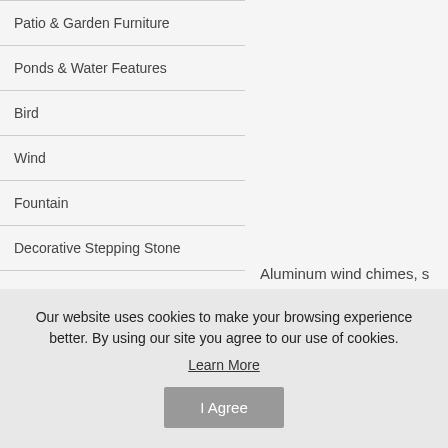Patio & Garden Furniture
Ponds & Water Features
Bird
Wind
Fountain
Decorative Stepping Stone
Brands
Aluminum wind chimes, s 23 1/2" long.
Our website uses cookies to make your browsing experience better. By using our site you agree to our use of cookies.
Learn More
I Agree